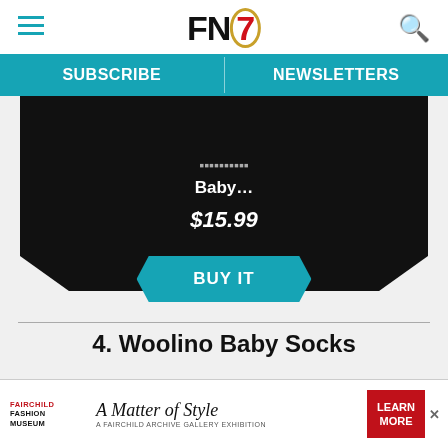FN (Footwear News) logo with hamburger menu and search icon
SUBSCRIBE | NEWSLETTERS
[Figure (screenshot): Product card on black background showing partially visible title ending in 'Baby...' and price $15.99 with teal BUY IT button]
4. Woolino Baby Socks
Crafted from 80% merino wool, these socks are temperature-regulating and should be super soft.
[Figure (other): Fairchild Fashion Museum advertisement: A Matter of Style — A Fairchild Archive Gallery Exhibition, with LEARN MORE red button]